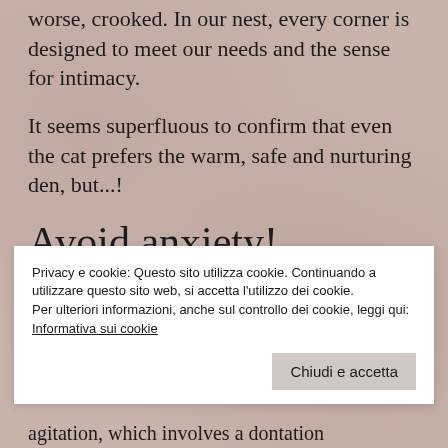worse, crooked. In our nest, every corner is designed to meet our needs and the sense for intimacy.
It seems superfluous to confirm that even the cat prefers the warm, safe and nurturing den, but...!
Avoid anxiety!
Privacy e cookie: Questo sito utilizza cookie. Continuando a utilizzare questo sito web, si accetta l'utilizzo dei cookie.
Per ulteriori informazioni, anche sul controllo dei cookie, leggi qui:
Informativa sui cookie
Chiudi e accetta
agitation, which involves a dontation